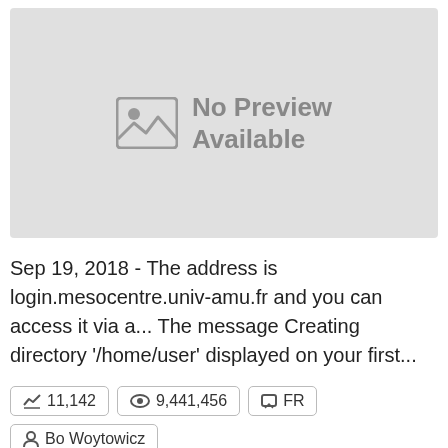[Figure (other): No Preview Available placeholder image with image icon and text]
Sep 19, 2018 - The address is login.mesocentre.univ-amu.fr and you can access it via a... The message Creating directory '/home/user' displayed on your first...
11,142  9,441,456  FR  Bo Woytowicz
0  0